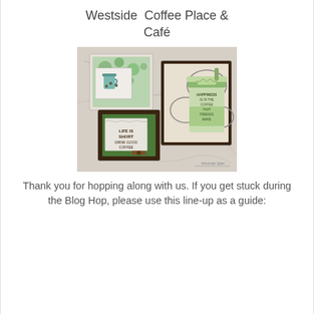Westside Coffee Place & Café
[Figure (photo): Craft project photo showing handmade coffee-themed greeting cards and mini albums arranged on a marble surface. Cards feature green and brown colors with coffee cup imagery and text like 'Life is Short' and 'Happiness is...'. A watermark reads 'Westside Spiel' at the bottom right.]
Thank you for hopping along with us. If you get stuck during the Blog Hop, please use this line-up as a guide: